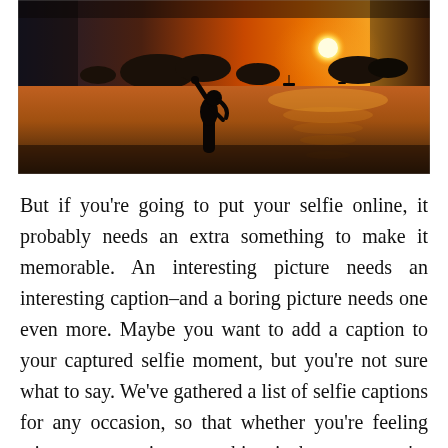[Figure (photo): Silhouette of a person standing in water with arms raised, against a dramatic sunset over the ocean with island silhouettes in the background. Warm orange and red tones in the sky reflected on the water.]
But if you're going to put your selfie online, it probably needs an extra something to make it memorable. An interesting picture needs an interesting caption–and a boring picture needs one even more. Maybe you want to add a caption to your captured selfie moment, but you're not sure what to say. We've gathered a list of selfie captions for any occasion, so that whether you're feeling witty or sarcastic or anything in between, you're likely to find a caption from our list that's perfect for you.